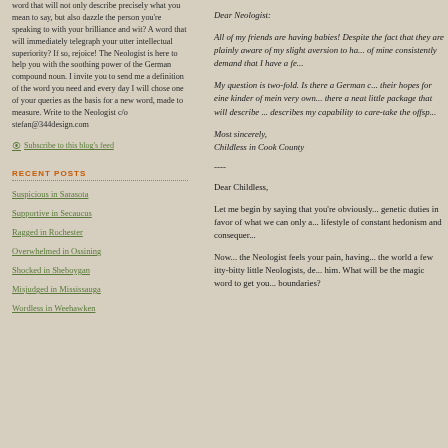word that will not only describe precisely what you mean to say, but also dazzle the person you're speaking to with your brilliance and wit? A word that will immediately telegraph your utter intellectual superiority? If so, rejoice! The Neologist is here to help you with the soothing power of the German compound noun. I invite you to send me a definition of the word you need and every day I will chose one of your queries as the basis for a new word, made to measure. Write to the Neologist c/o stefan@344design.com
Subscribe to this blog's feed
RECENT POSTS
Suspicious in Sarasota
Supportive in Secaucus
Ragged in Rochester
Overwhelmed in Ossining
Shocked in Sheboygan
Misjudged in Mississauga
Wordless in Weehawken
Dear Neologist:

All of my friends are having babies! Despite the fact that they are plainly aware of my slight aversion to ha... of mine consistently demand that I have a fe...

My question is two-fold. Is there a German c... their hopes for eine kinder of mein very own... there a neat little package that will describe ... describes my capability to care-take the offsp...

Most sincerely,
Childless in Cook County
----
Dear Childless,

Let me begin by saying that you're obviously... genetic duties in favor of what we can only a... lifestyle of constant hedonism and conseque...

Now... the Neologist feels your pain, having... the world a few itty-bitty little Neologists, de... him. What will be the magic word to get you... boundaries?